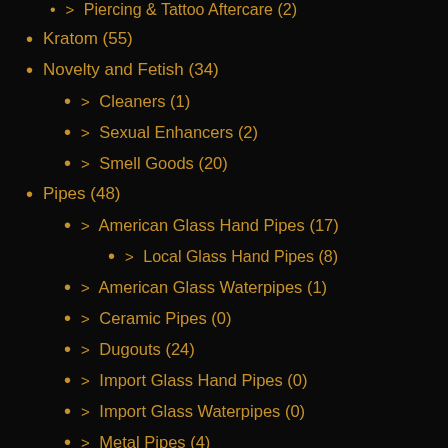> Piercing & Tattoo Aftercare (2)
Kratom (55)
Novelty and Fetish (34)
> Cleaners (1)
> Sexual Enhancers (2)
> Smell Goods (20)
Pipes (48)
> American Glass Hand Pipes (17)
> Local Glass Hand Pipes (8)
> American Glass Waterpipes (1)
> Ceramic Pipes (0)
> Dugouts (24)
> Import Glass Hand Pipes (0)
> Import Glass Waterpipes (0)
> Metal Pipes (4)
> Silicone Pipes (4)
> Stone Pipes (0)